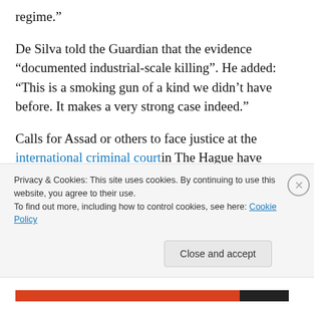regime.”
De Silva told the Guardian that the evidence “documented industrial-scale killing”. He added: “This is a smoking gun of a kind we didn’t have before. It makes a very strong case indeed.”
Calls for Assad or others to face justice at the international criminal court in The Hague have foundered on the problems that Syria is not a member of the court, and that the required referral by the UN security council might not be supported by the US and UK or would be blocked by
Privacy & Cookies: This site uses cookies. By continuing to use this website, you agree to their use.
To find out more, including how to control cookies, see here: Cookie Policy
Close and accept